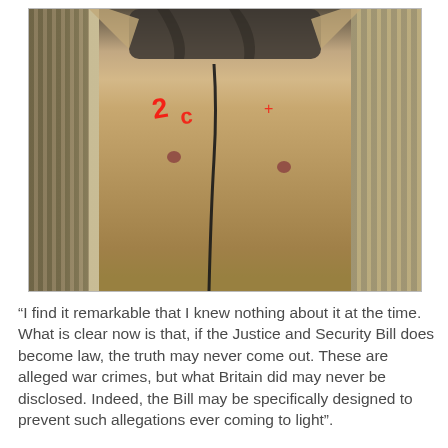[Figure (photo): A photograph of a person's torso with hands raised, head covered with a dark cloth/hood, showing apparent wounds or marks on the body, in what appears to be a detention facility with barred walls visible on either side.]
“I find it remarkable that I knew nothing about it at the time. What is clear now is that, if the Justice and Security Bill does become law, the truth may never come out. These are alleged war crimes, but what Britain did may never be disclosed. Indeed, the Bill may be specifically designed to prevent such allegations ever coming to light”.